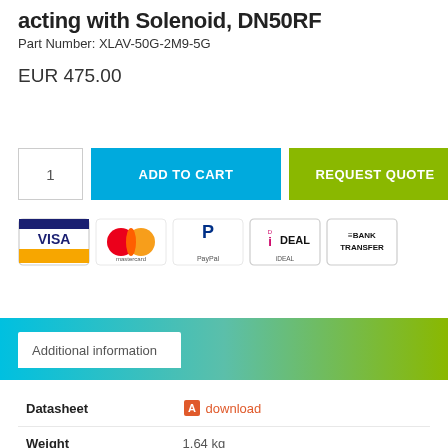acting with Solenoid, DN50RF
Part Number: XLAV-50G-2M9-5G
EUR 475.00
[Figure (other): Payment method icons: VISA, Mastercard, PayPal, iDEAL, Bank Transfer]
Additional information
| Datasheet | download |
| Weight | 1.64 kg |